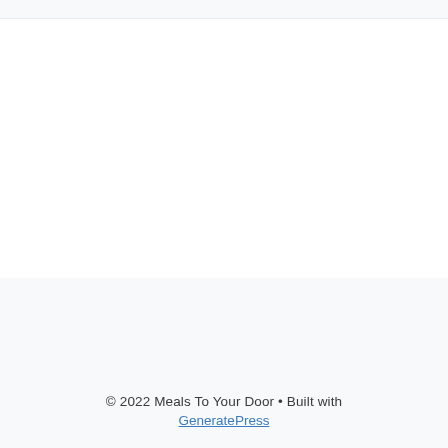© 2022 Meals To Your Door • Built with GeneratePress